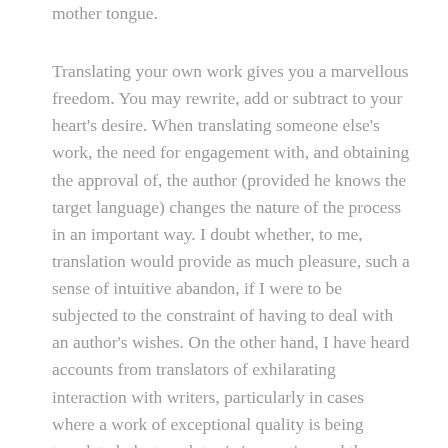mother tongue.
Translating your own work gives you a marvellous freedom. You may rewrite, add or subtract to your heart's desire. When translating someone else's work, the need for engagement with, and obtaining the approval of, the author (provided he knows the target language) changes the nature of the process in an important way. I doubt whether, to me, translation would provide as much pleasure, such a sense of intuitive abandon, if I were to be subjected to the constraint of having to deal with an author's wishes. On the other hand, I have heard accounts from translators of exhilarating interaction with writers, particularly in cases where a work of exceptional quality is being translated, the translator is innovative and the author is open to creative collaboration.